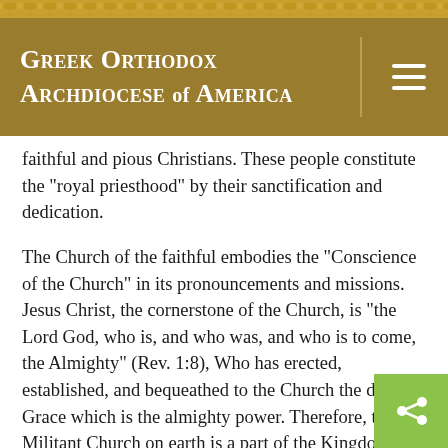Greek Orthodox Archdiocese of America
faithful and pious Christians. These people constitute the "royal priesthood" by their sanctification and dedication.
The Church of the faithful embodies the "Conscience of the Church" in its pronouncements and missions. Jesus Christ, the cornerstone of the Church, is "the Lord God, who is, and who was, and who is to come, the Almighty" (Rev. 1:8), Who has erected, established, and bequeathed to the Church the divine Grace which is the almighty power. Therefore, the Militant Church on earth is a part of the Kingdom of Heaven, for the King is ever present to lead and sanctify the members